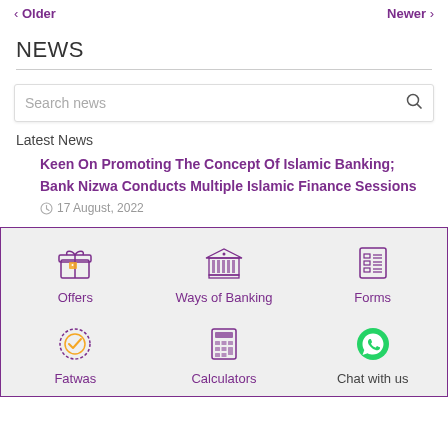< Older   Newer >
NEWS
Search news
Latest News
Keen On Promoting The Concept Of Islamic Banking; Bank Nizwa Conducts Multiple Islamic Finance Sessions
17 August, 2022
[Figure (infographic): Footer navigation grid with icons: Offers (gift box with tag), Ways of Banking (bank building), Forms (document with lines), Fatwas (circular checkmark), Calculators (calculator grid), Chat with us (green WhatsApp icon)]